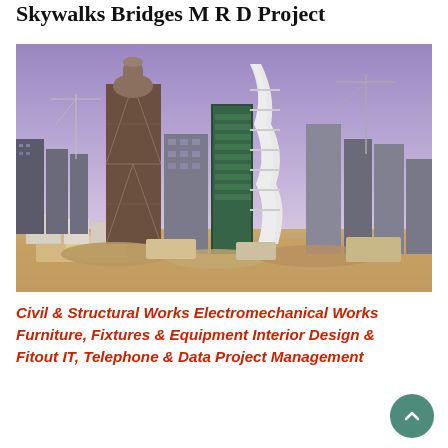Skywalks Bridges M R D Project
[Figure (photo): Aerial/skyline view of a Middle Eastern city under construction with tall skyscrapers including a distinctive diamond-patterned tower against a purple-blue dusk sky. Construction cranes and earthworks visible in the foreground.]
Civil & Structural Works Electromechanical Works Furniture, Fixtures & Equipment Interior Design & Fitout IT, Telephone & Data Project Management